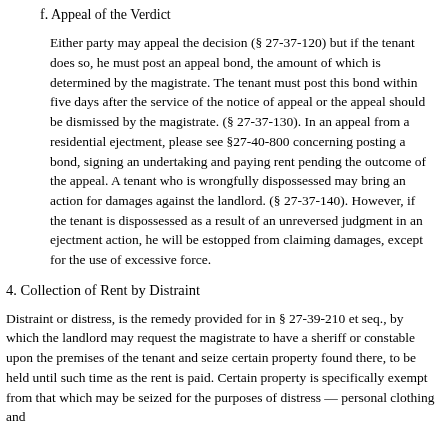f. Appeal of the Verdict
Either party may appeal the decision (§ 27-37-120) but if the tenant does so, he must post an appeal bond, the amount of which is determined by the magistrate. The tenant must post this bond within five days after the service of the notice of appeal or the appeal should be dismissed by the magistrate. (§ 27-37-130). In an appeal from a residential ejectment, please see §27-40-800 concerning posting a bond, signing an undertaking and paying rent pending the outcome of the appeal. A tenant who is wrongfully dispossessed may bring an action for damages against the landlord. (§ 27-37-140). However, if the tenant is dispossessed as a result of an unreversed judgment in an ejectment action, he will be estopped from claiming damages, except for the use of excessive force.
4. Collection of Rent by Distraint
Distraint or distress, is the remedy provided for in § 27-39-210 et seq., by which the landlord may request the magistrate to have a sheriff or constable upon the premises of the tenant and seize certain property found there, to be held until such time as the rent is paid. Certain property is specifically exempt from that which may be seized for the purposes of distress — personal clothing and